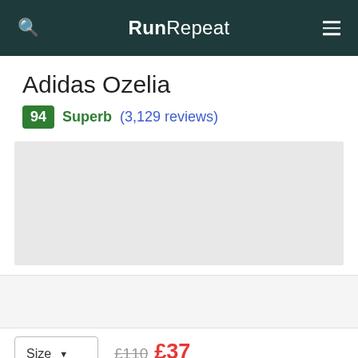RunRepeat
Adidas Ozelia
94 Superb (3,129 reviews)
[Figure (photo): Product image placeholder - light gray rectangle]
[Figure (other): Advertisement or promotional banner area - light gray rectangle]
Size  £110 £37  Save 66%